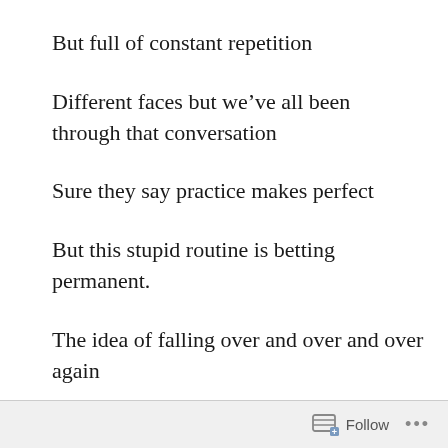But full of constant repetition
Different faces but we’ve all been through that conversation
Sure they say practice makes perfect
But this stupid routine is betting permanent.
The idea of falling over and over and over again
Follow •••